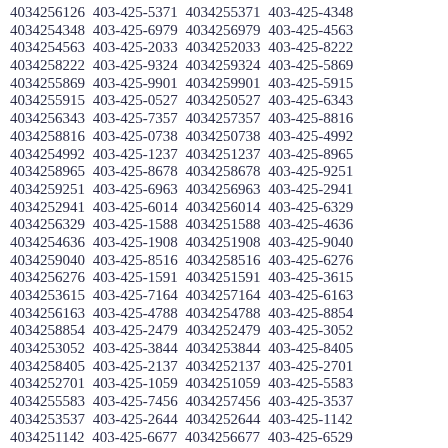4034256126 403-425-5371 4034255371 403-425-4348 4034254348 403-425-6979 4034256979 403-425-4563 4034254563 403-425-2033 4034252033 403-425-8222 4034258222 403-425-9324 4034259324 403-425-5869 4034255869 403-425-9901 4034259901 403-425-5915 4034255915 403-425-0527 4034250527 403-425-6343 4034256343 403-425-7357 4034257357 403-425-8816 4034258816 403-425-0738 4034250738 403-425-4992 4034254992 403-425-1237 4034251237 403-425-8965 4034258965 403-425-8678 4034258678 403-425-9251 4034259251 403-425-6963 4034256963 403-425-2941 4034252941 403-425-6014 4034256014 403-425-6329 4034256329 403-425-1588 4034251588 403-425-4636 4034254636 403-425-1908 4034251908 403-425-9040 4034259040 403-425-8516 4034258516 403-425-6276 4034256276 403-425-1591 4034251591 403-425-3615 4034253615 403-425-7164 4034257164 403-425-6163 4034256163 403-425-4788 4034254788 403-425-8854 4034258854 403-425-2479 4034252479 403-425-3052 4034253052 403-425-3844 4034253844 403-425-8405 4034258405 403-425-2137 4034252137 403-425-2701 4034252701 403-425-1059 4034251059 403-425-5583 4034255583 403-425-7456 4034257456 403-425-3537 4034253537 403-425-2644 4034252644 403-425-1142 4034251142 403-425-6677 4034256677 403-425-6529